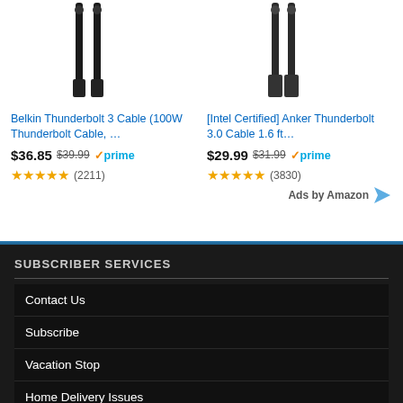[Figure (screenshot): Product image of Belkin Thunderbolt 3 Cable - black cables]
[Figure (screenshot): Product image of Anker Thunderbolt 3.0 Cable - black cables]
Belkin Thunderbolt 3 Cable (100W Thunderbolt Cable, …
[Intel Certified] Anker Thunderbolt 3.0 Cable 1.6 ft…
$36.85 $39.99 ✓prime ★★★★★ (2211)
$29.99 $31.99 ✓prime ★★★★★ (3830)
Ads by Amazon
SUBSCRIBER SERVICES
Contact Us
Subscribe
Vacation Stop
Home Delivery Issues